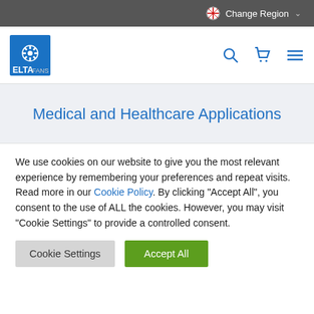Change Region
[Figure (logo): Elta Fans logo — blue square with fan/wheel graphic, ELTA text in blue, FANS in grey]
Medical and Healthcare Applications
We use cookies on our website to give you the most relevant experience by remembering your preferences and repeat visits. Read more in our Cookie Policy. By clicking "Accept All", you consent to the use of ALL the cookies. However, you may visit "Cookie Settings" to provide a controlled consent.
Cookie Settings | Accept All